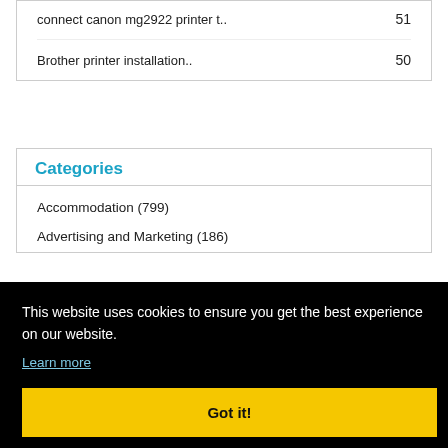connect canon mg2922 printer t..   51
Brother printer installation..   50
Categories
Accommodation (799)
Advertising and Marketing (186)
This website uses cookies to ensure you get the best experience on our website.
Learn more
Got it!
Brookline (14)